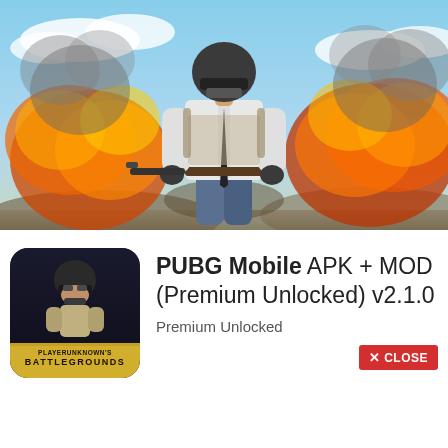[Figure (illustration): PUBG Mobile promotional hero image showing a soldier in a white shirt and tactical gear holding a rifle, standing in front of large explosions and fire clouds, with a blue sky background.]
[Figure (logo): PUBG Mobile app icon showing a helmeted soldier on a dark background with 'BATTLEGROUNDS' text at the bottom, yellow and dark color scheme.]
PUBG Mobile APK + MOD (Premium Unlocked) v2.1.0
Premium Unlocked